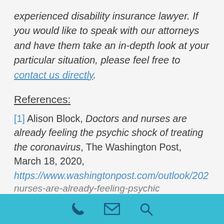experienced disability insurance lawyer. If you would like to speak with our attorneys and have them take an in-depth look at your particular situation, please feel free to contact us directly.
References:
[1] Alison Block, Doctors and nurses are already feeling the psychic shock of treating the coronavirus, The Washington Post, March 18, 2020, https://www.washingtonpost.com/outlook/202...nurses-are-already-feeling-psychic
Phone | Email | Search